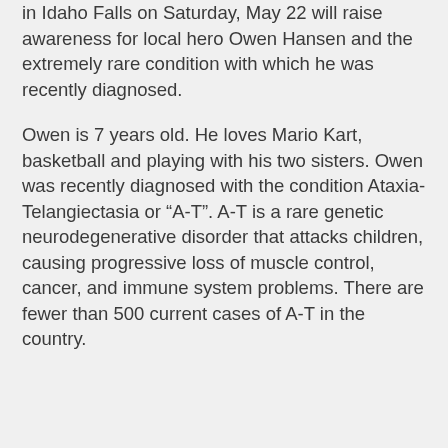in Idaho Falls on Saturday, May 22 will raise awareness for local hero Owen Hansen and the extremely rare condition with which he was recently diagnosed.
Owen is 7 years old. He loves Mario Kart, basketball and playing with his two sisters. Owen was recently diagnosed with the condition Ataxia-Telangiectasia or “A-T”. A-T is a rare genetic neurodegenerative disorder that attacks children, causing progressive loss of muscle control, cancer, and immune system problems. There are fewer than 500 current cases of A-T in the country.